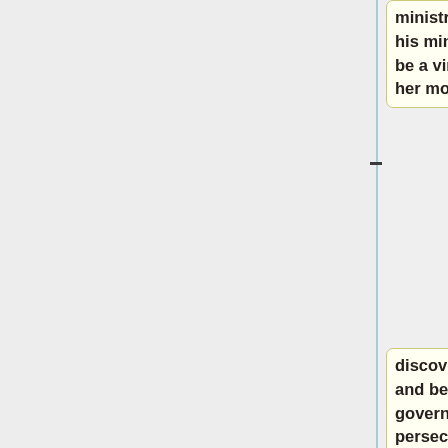ministry's trip she believed in his ministry and so vowed to be a virgin for the Lord. When her mother
discovered her faith she went and betrayed her to the governor of Iconium who persecuted her with
different sufferings and pains.  He threw her in fire but the Lord sent heavy rain